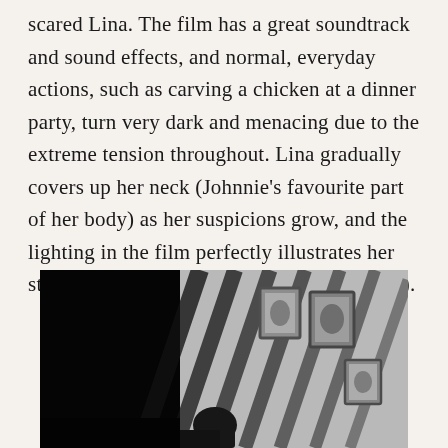scared Lina. The film has a great soundtrack and sound effects, and normal, everyday actions, such as carving a chicken at a dinner party, turn very dark and menacing due to the extreme tension throughout. Lina gradually covers up her neck (Johnnie's favourite part of her body) as her suspicions grow, and the lighting in the film perfectly illustrates her state of mind (like some filmatic mood ring).
[Figure (photo): Black and white film still showing a darkened interior room with dramatic diagonal shadow lines (resembling window bars or a staircase railing) cast across a wall. Several framed pictures or photographs hang on the wall. A silhouetted figure is visible in the lower portion of the image. The overall mood is dark and ominous.]